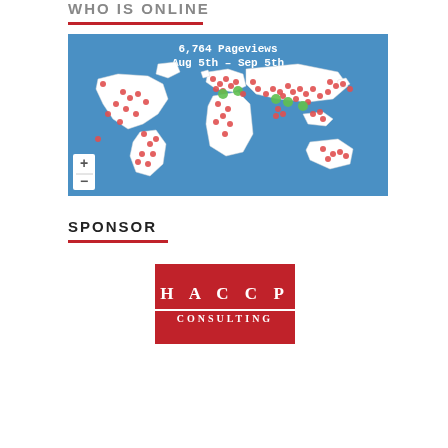WHO IS ONLINE
[Figure (map): World map showing 6,764 Pageviews from Aug 5th – Sep 5th with red and green dot markers indicating visitor locations globally]
SPONSOR
[Figure (logo): HACCP CONSULTING logo — red background with white text spelling H A C C P over CONSULTING with a white horizontal rule between them]